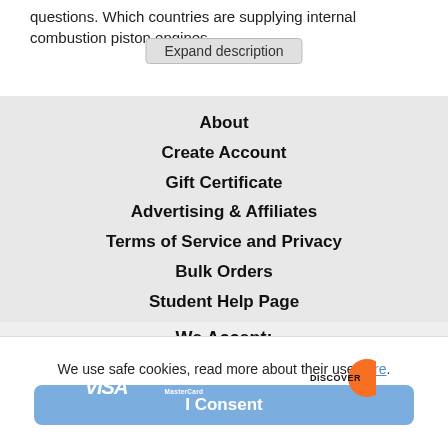questions. Which countries are supplying internal combustion piston engines
Expand description
About
Create Account
Gift Certificate
Advertising & Affiliates
Terms of Service and Privacy
Bulk Orders
Student Help Page
We Accept:
[Figure (logo): Payment method logos: Visa, MasterCard, American Express, Discover]
Copyright © 2022 Akademos Inc.
We use safe cookies, read more about their use here.
I Consent